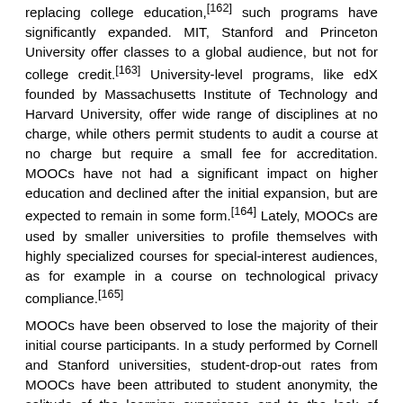replacing college education,[162] such programs have significantly expanded. MIT, Stanford and Princeton University offer classes to a global audience, but not for college credit.[163] University-level programs, like edX founded by Massachusetts Institute of Technology and Harvard University, offer wide range of disciplines at no charge, while others permit students to audit a course at no charge but require a small fee for accreditation. MOOCs have not had a significant impact on higher education and declined after the initial expansion, but are expected to remain in some form.[164] Lately, MOOCs are used by smaller universities to profile themselves with highly specialized courses for special-interest audiences, as for example in a course on technological privacy compliance.[165]
MOOCs have been observed to lose the majority of their initial course participants. In a study performed by Cornell and Stanford universities, student-drop-out rates from MOOCs have been attributed to student anonymity, the solitude of the learning experience and to the lack of interaction with peers and with teachers.[166] Effective student engagement measures that reduce drop-outs are forum interactions and virtual teacher or teaching assistant presence - measures